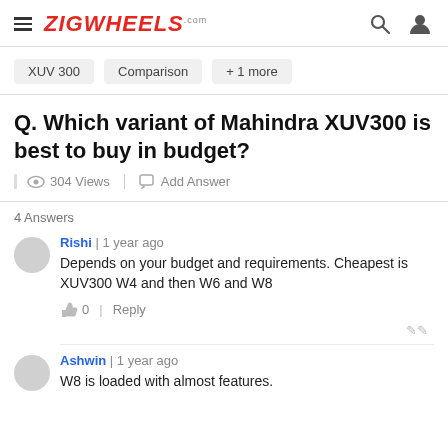ZIGWHEELS.com
XUV 300
Comparison
+ 1 more
Q. Which variant of Mahindra XUV300 is best to buy in budget?
304 Views | Add Answer
4 Answers
Rishi | 1 year ago
Depends on your budget and requirements. Cheapest is XUV300 W4 and then W6 and W8
👍 0 | Reply
Ashwin | 1 year ago
W8 is loaded with almost features.